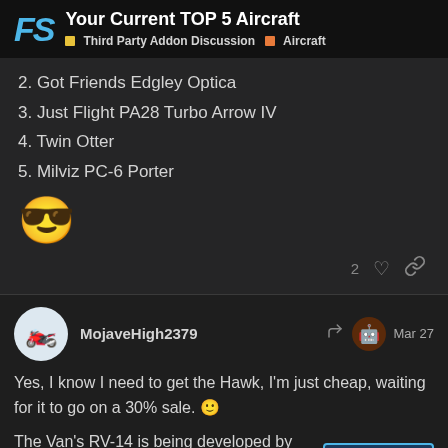Your Current TOP 5 Aircraft | Third Party Addon Discussion | Aircraft
2. Got Friends Edgley Optica
3. Just Flight PA28 Turbo Arrow IV
4. Twin Otter
5. Milviz PC-6 Porter
[Figure (illustration): Sunglasses (cool face) emoji]
2 [heart icon] [link icon]
MojaveHigh2379   Mar 27
Yes, I know I need to get the Hawk, I'm just cheap, waiting for it to go on a 30% sale. 🙂
The Van's RV-14 is being developed by Simworks Studios. It is due any time now.
15 / 1433